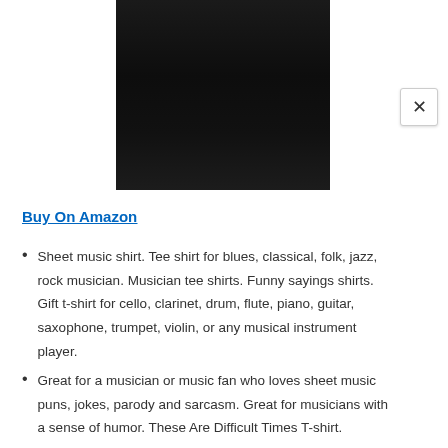[Figure (photo): Product image of a dark/black t-shirt, showing mostly the lower portion of the shirt against a white background.]
Buy On Amazon
Sheet music shirt. Tee shirt for blues, classical, folk, jazz, rock musician. Musician tee shirts. Funny sayings shirts. Gift t-shirt for cello, clarinet, drum, flute, piano, guitar, saxophone, trumpet, violin, or any musical instrument player.
Great for a musician or music fan who loves sheet music puns, jokes, parody and sarcasm. Great for musicians with a sense of humor. These Are Difficult Times T-shirt.